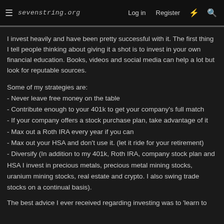sevenstring.org — Log in | Register
I invest heavily and have been pretty successful with it. The first thing I tell people thinking about giving it a shot is to invest in your own financial education. Books, videos and social media can help a lot but look for reputable sources.
Some of my strategies are:
- Never leave free money on the table
- Contribute enough to your 401k to get your company's full match
- If your company offers a stock purchase plan, take advantage of it
- Max out a Roth IRA every year if you can
- Max out your HSA and don't use it. (let it ride for your retirement)
- Diversify (In addition to my 401k, Roth IRA, company stock plan and HSA I invest in precious metals, precious metal mining stocks, uranium mining stocks, real estate and crypto. I also swing trade stocks on a continual basis).
The best advice I ever received regarding investing was to 'learn to